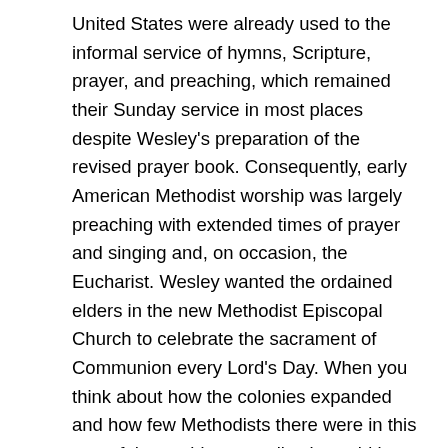United States were already used to the informal service of hymns, Scripture, prayer, and preaching, which remained their Sunday service in most places despite Wesley's preparation of the revised prayer book. Consequently, early American Methodist worship was largely preaching with extended times of prayer and singing and, on occasion, the Eucharist. Wesley wanted the ordained elders in the new Methodist Episcopal Church to celebrate the sacrament of Communion every Lord's Day. When you think about how the colonies expanded and how few Methodists there were in this part of the world, you realize it would be difficult for them actually to receive Communion every Sunday. But if Wesley's instructions meant that ordained elders were to perform the sacraments every Sunday, that gives us a slightly different picture, since Methodist preachers